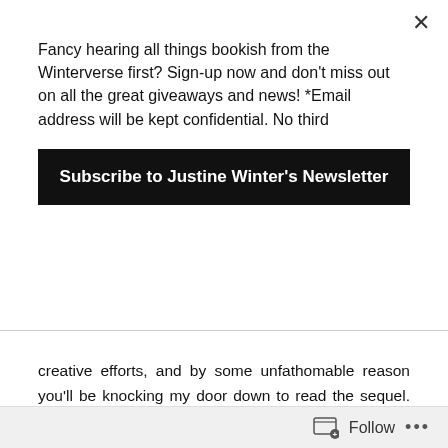Fancy hearing all things bookish from the Winterverse first? Sign-up now and don't miss out on all the great giveaways and news! *Email address will be kept confidential. No third
[Figure (other): Subscribe to Justine Winter's Newsletter button — black rectangle button with white bold text]
creative efforts, and by some unfathomable reason you'll be knocking my door down to read the sequel. After all, I'm nothing but optimistic. *insert cheesy grin, and awkward wink*
On a serious note, I will be posting the prologue soon which I hope you'll enjoy. As a kind farewell I'm going to let you in on a secret; my novel is based on Werewolves.
Follow ···